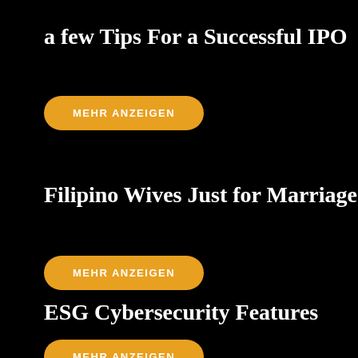a few Tips For a Successful IPO
MEHR ANZEIGEN
Filipino Wives Just for Marriage
MEHR ANZEIGEN
ESG Cybersecurity Features
MEHR ANZEIGEN